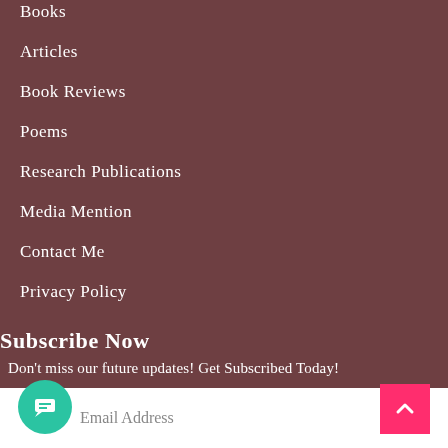Books
Articles
Book Reviews
Poems
Research Publications
Media Mention
Contact Me
Privacy Policy
Subscribe Now
Don't miss our future updates! Get Subscribed Today!
Email Address